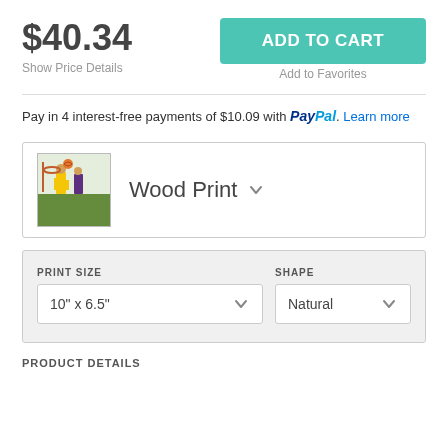$40.34
Show Price Details
ADD TO CART
Add to Favorites
Pay in 4 interest-free payments of $10.09 with PayPal. Learn more
Wood Print
PRINT SIZE
10" x 6.5"
SHAPE
Natural
PRODUCT DETAILS